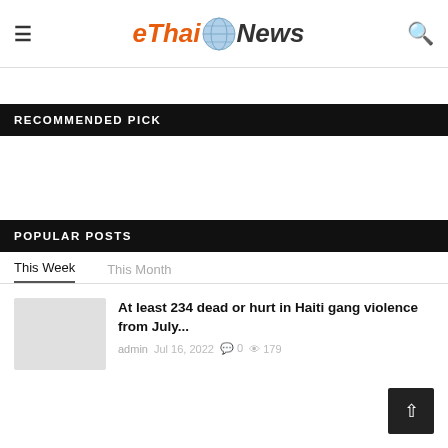eThaiNews
RECOMMENDED PICK
POPULAR POSTS
This Week   This Month
At least 234 dead or hurt in Haiti gang violence from July...
admin   Jul 16, 2022   0   179